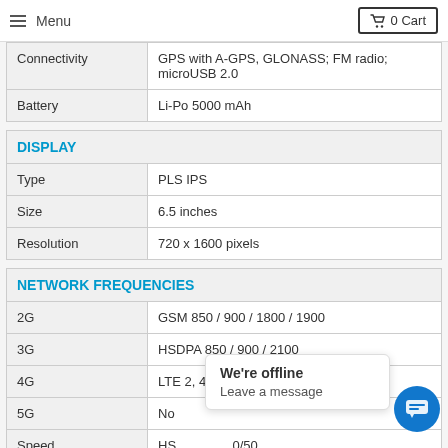Menu  0 Cart
| Connectivity | GPS with A-GPS, GLONASS; FM radio; microUSB 2.0 |
| --- | --- |
| Battery | Li-Po 5000 mAh |
| DISPLAY |  |
| --- | --- |
| Type | PLS IPS |
| Size | 6.5 inches |
| Resolution | 720 x 1600 pixels |
| NETWORK FREQUENCIES |  |
| --- | --- |
| 2G | GSM 850 / 900 / 1800 / 1900 |
| 3G | HSDPA 850 / 900 / 2100 |
| 4G | LTE 2, 4, 5, 12, 28, 66 |
| 5G | No |
| Speed | HS... ...0/50... Mbps |
We're offline. Leave a message.